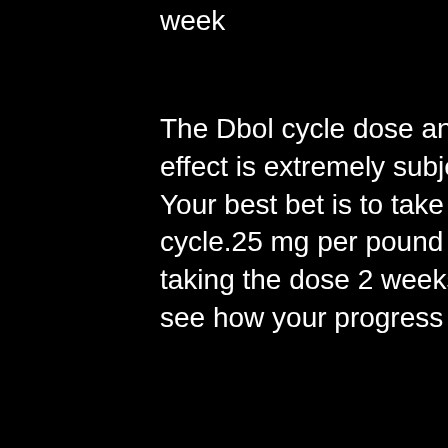week
The Dbol cycle dose and the bodybuilder's ergogenic effect is extremely subjective, dianabol dosage timing. Your best bet is to take 1, what to take after dianabol cycle.25 mg per pound every day 2-4 times per day, taking the dose 2 weeks in a row and testing yourself to see how your progress
As are most oral anabolic steroids Winstrol pills are hepatic in nature but in the case of Winstrol pills they carry with them one of the highest hepatic ratings of allsteroids; they also carry a very high rate of liver damage. As many studies have recently documented the severe potential toxicity of oral anabolic steroids it is surprising that even the most well known and established drugs, such as Winstrol, are rarely used in the treatment of